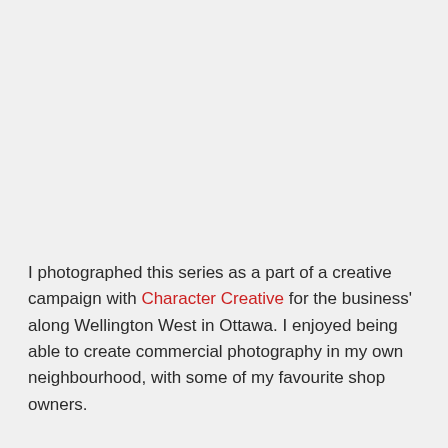I photographed this series as a part of a creative campaign with Character Creative for the business' along Wellington West in Ottawa. I enjoyed being able to create commercial photography in my own neighbourhood, with some of my favourite shop owners.